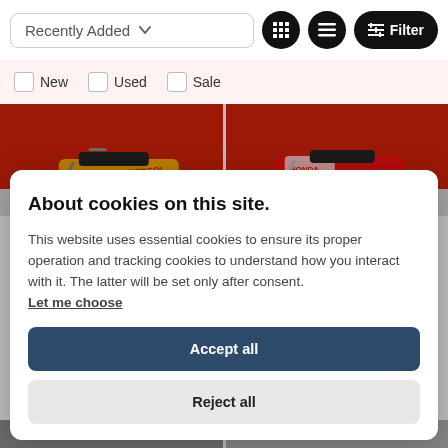Recently Added
New
Used
Sale
[Figure (photo): Two dirt bikes (Honda motocross bikes with Repsol branding) against a red wall background]
About cookies on this site.
This website uses essential cookies to ensure its proper operation and tracking cookies to understand how you interact with it. The latter will be set only after consent. Let me choose
Accept all
Reject all